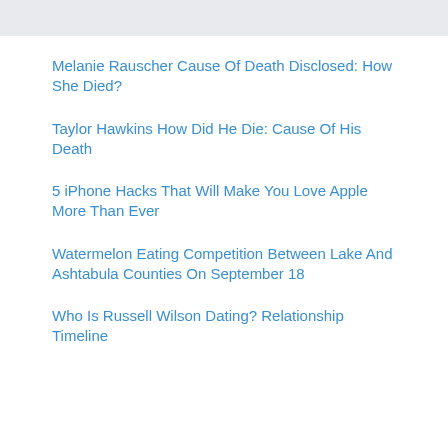Melanie Rauscher Cause Of Death Disclosed: How She Died?
Taylor Hawkins How Did He Die: Cause Of His Death
5 iPhone Hacks That Will Make You Love Apple More Than Ever
Watermelon Eating Competition Between Lake And Ashtabula Counties On September 18
Who Is Russell Wilson Dating? Relationship Timeline